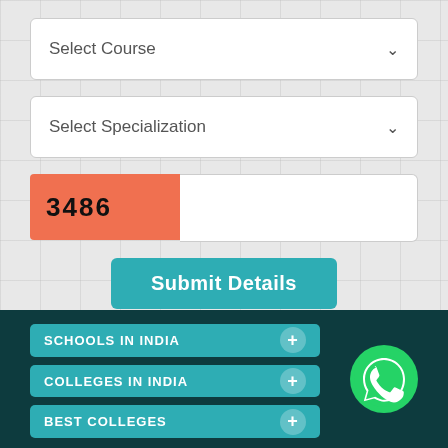[Figure (screenshot): Dropdown select field labeled 'Select Course' with down arrow]
[Figure (screenshot): Dropdown select field labeled 'Select Specialization' with down arrow]
3486
[Figure (screenshot): Submit Details button in teal color]
SCHOOLS IN INDIA
COLLEGES IN INDIA
BEST COLLEGES
[Figure (logo): WhatsApp icon - green circle with white phone handset]